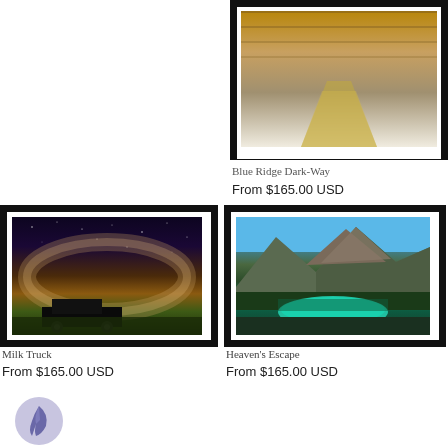[Figure (photo): Framed photograph of Blue Ridge path/road at top right, partially cropped]
Blue Ridge Dark-Way
From $165.00 USD
[Figure (photo): Framed photograph titled Milk Truck showing vintage truck under Milky Way galaxy night sky]
Milk Truck
From $165.00 USD
[Figure (photo): Framed photograph titled Heaven's Escape showing turquoise mountain lake surrounded by rocky peaks]
Heaven's Escape
From $165.00 USD
[Figure (logo): Feather quill icon in purple/lavender circle at bottom left]